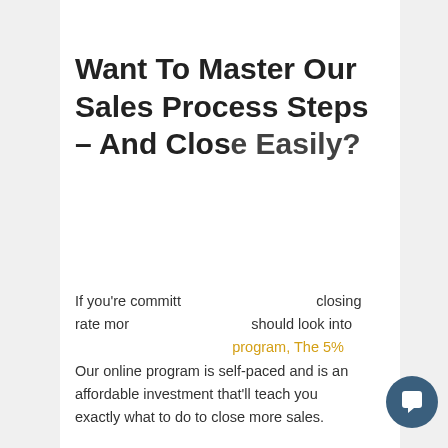Want To Master Our Sales Process Steps – And Close Easily?
If you're committed to improving your closing rate more consistently, you should look into our online sales training program, The 5%...
[Figure (screenshot): Chat popup widget with avatar of a man in a suit. Text reads: 'Nice to meet you! Have any sales training questions? If so, check out our online sales training course here: https://www.5percentinstitute.c... percent-sales-blueprint'. Has an X close button. Below is a dark blue circular chat button with speech bubble icon.]
Our online program is self-paced and is an affordable investment that'll teach you exactly what to do to close more sales.